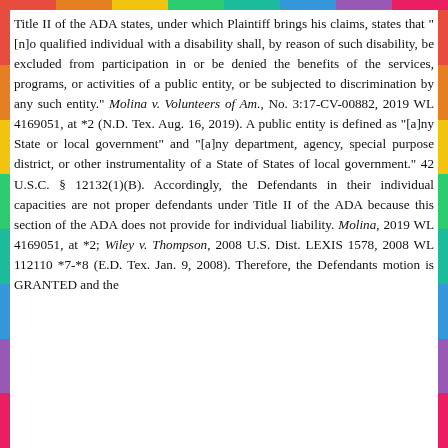Title II of the ADA states, under which Plaintiff brings his claims, states that "[n]o qualified individual with a disability shall, by reason of such disability, be excluded from participation in or be denied the benefits of the services, programs, or activities of a public entity, or be subjected to discrimination by any such entity." Molina v. Volunteers of Am., No. 3:17-CV-00882, 2019 WL 4169051, at *2 (N.D. Tex. Aug. 16, 2019). A public entity is defined as "[a]ny State or local government" and "[a]ny department, agency, special purpose district, or other instrumentality of a State of States of local government." 42 U.S.C. § 12132(1)(B). Accordingly, the Defendants in their individual capacities are not proper defendants under Title II of the ADA because this section of the ADA does not provide for individual liability. Molina, 2019 WL 4169051, at *2; Wiley v. Thompson, 2008 U.S. Dist. LEXIS 1578, 2008 WL 112110 *7-*8 (E.D. Tex. Jan. 9, 2008). Therefore, the Defendants motion is GRANTED and the